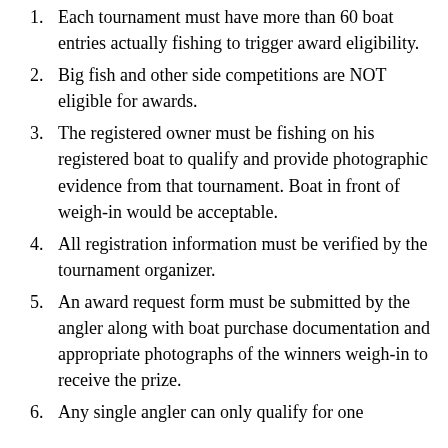Each tournament must have more than 60 boat entries actually fishing to trigger award eligibility.
Big fish and other side competitions are NOT eligible for awards.
The registered owner must be fishing on his registered boat to qualify and provide photographic evidence from that tournament. Boat in front of weigh-in would be acceptable.
All registration information must be verified by the tournament organizer.
An award request form must be submitted by the angler along with boat purchase documentation and appropriate photographs of the winners weigh-in to receive the prize.
Any single angler can only qualify for one